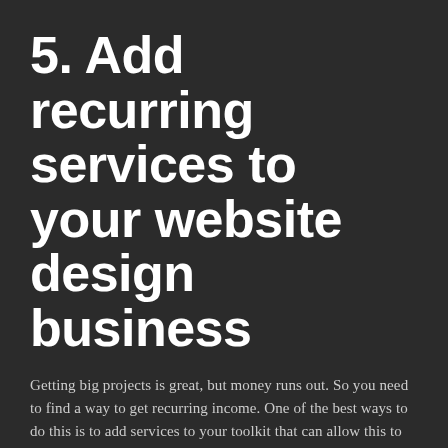5. Add recurring services to your website design business
Getting big projects is great, but money runs out. So you need to find a way to get recurring income. One of the best ways to do this is to add services to your toolkit that can allow this to happen.
So if you are developing a website on Webflow for a client, you can introduce them to SEO and make SEO a recurring income service you provide. Most SEO projects last between 6 to 12 months. So it will be a great way to get cash flow to…well flow and build up.
As a designer, your clients will most likely never